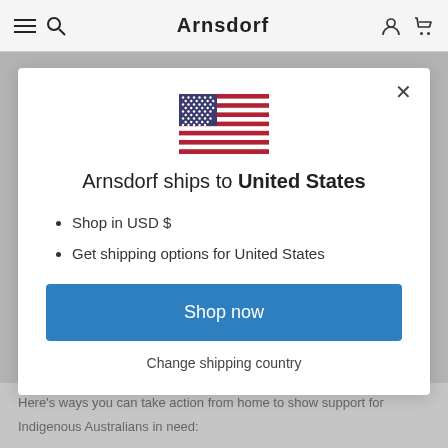Arnsdorf
[Figure (illustration): US flag emoji/icon centered in modal dialog]
Arnsdorf ships to United States
Shop in USD $
Get shipping options for United States
Shop now
Change shipping country
Here's ways you can take action from home to show support for Indigenous Australians in need: